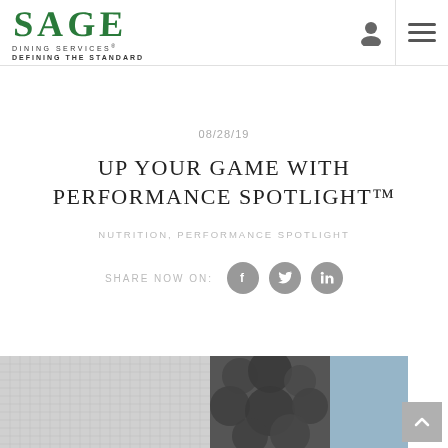[Figure (logo): SAGE Dining Services logo with green text and tagline DEFINING THE STANDARD]
08/28/19
UP YOUR GAME WITH PERFORMANCE SPOTLIGHT™
NUTRITION, PERFORMANCE SPOTLIGHT
SHARE NOW ON:
[Figure (photo): Three images at the bottom: a metallic mesh/net texture in grayscale, dark foliage/plant texture, and a blue-grey stone or water texture]